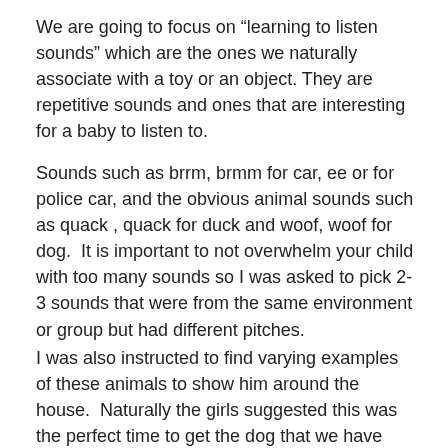We are going to focus on “learning to listen sounds” which are the ones we naturally associate with a toy or an object. They are repetitive sounds and ones that are interesting for a baby to listen to.
Sounds such as brrm, brmm for car, ee or for police car, and the obvious animal sounds such as quack , quack for duck and woof, woof for dog.  It is important to not overwhelm your child with too many sounds so I was asked to pick 2-3 sounds that were from the same environment or group but had different pitches.
I was also instructed to find varying examples of these animals to show him around the house.  Naturally the girls suggested this was the perfect time to get the dog that we have said they can’t have, or perhaps a rabbit like their